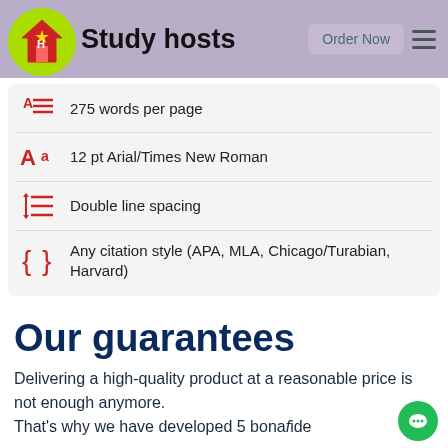Study hosts — Order Now
275 words per page
12 pt Arial/Times New Roman
Double line spacing
Any citation style (APA, MLA, Chicago/Turabian, Harvard)
Our guarantees
Delivering a high-quality product at a reasonable price is not enough anymore. That's why we have developed 5 bonafide guarantees...